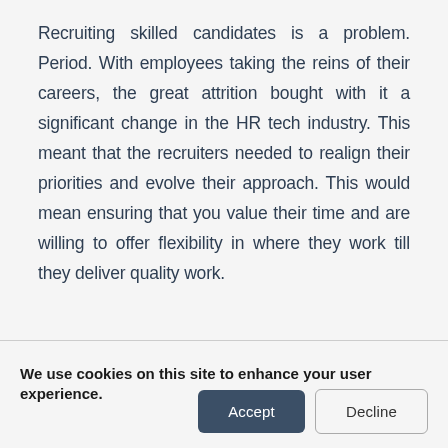Recruiting skilled candidates is a problem. Period. With employees taking the reins of their careers, the great attrition bought with it a significant change in the HR tech industry. This meant that the recruiters needed to realign their priorities and evolve their approach. This would mean ensuring that you value their time and are willing to offer flexibility in where they work till they deliver quality work.
We use cookies on this site to enhance your user experience.